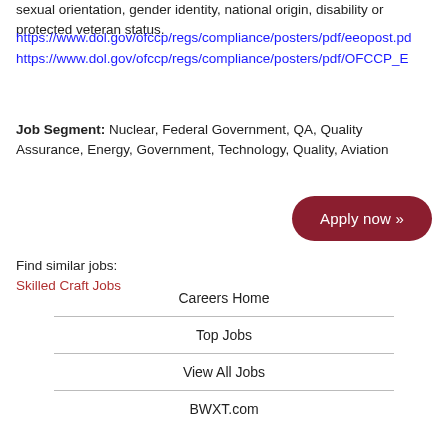sexual orientation, gender identity, national origin, disability or protected veteran status.
https://www.dol.gov/ofccp/regs/compliance/posters/pdf/eeopost.pd
https://www.dol.gov/ofccp/regs/compliance/posters/pdf/OFCCP_E
Job Segment: Nuclear, Federal Government, QA, Quality Assurance, Energy, Government, Technology, Quality, Aviation
Apply now »
Find similar jobs:
Skilled Craft Jobs
Careers Home
Top Jobs
View All Jobs
BWXT.com